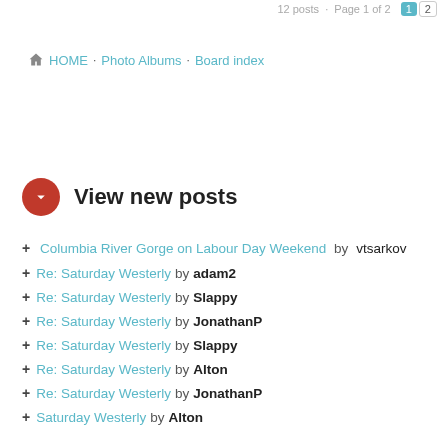12 posts · Page 1 of 2 · [1] [2]
🏠 HOME · Photo Albums · Board index
View new posts
+ Columbia River Gorge on Labour Day Weekend by vtsarkov
+ Re: Saturday Westerly by adam2
+ Re: Saturday Westerly by Slappy
+ Re: Saturday Westerly by JonathanP
+ Re: Saturday Westerly by Slappy
+ Re: Saturday Westerly by Alton
+ Re: Saturday Westerly by JonathanP
+ Saturday Westerly by Alton